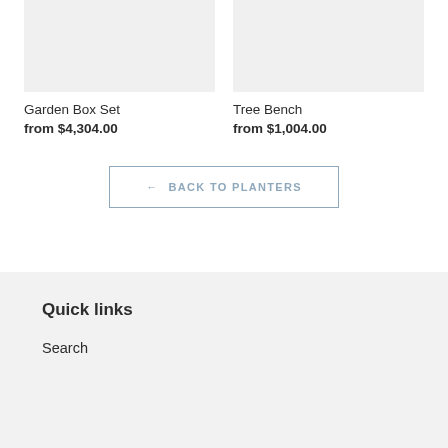[Figure (photo): Product image placeholder for Garden Box Set, light gray background]
Garden Box Set
from $4,304.00
[Figure (photo): Product image placeholder for Tree Bench, light gray background]
Tree Bench
from $1,004.00
← BACK TO PLANTERS
Quick links
Search